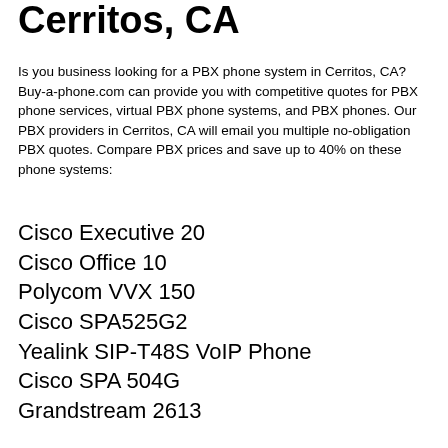Cerritos, CA
Is you business looking for a PBX phone system in Cerritos, CA? Buy-a-phone.com can provide you with competitive quotes for PBX phone services, virtual PBX phone systems, and PBX phones. Our PBX providers in Cerritos, CA will email you multiple no-obligation PBX quotes. Compare PBX prices and save up to 40% on these phone systems:
Cisco Executive 20
Cisco Office 10
Polycom VVX 150
Cisco SPA525G2
Yealink SIP-T48S VoIP Phone
Cisco SPA 504G
Grandstream 2613